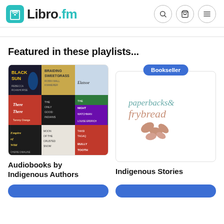Libro.fm
Featured in these playlists...
[Figure (illustration): Grid of 9 audiobook covers including Black Sun, Braiding Sweetgrass, Elatsoe, There There, The Only Good Indians, The Night Watchman, Empire of Wild, Moon of the Crusted Snow, Bully Tooth]
Audiobooks by Indigenous Authors
[Figure (logo): paperbacks & frybread logo with illustrated leaves, with a Bookseller badge above]
Indigenous Stories